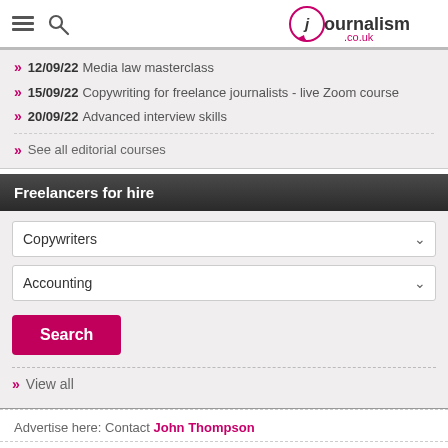journalism.co.uk
12/09/22 Media law masterclass
15/09/22 Copywriting for freelance journalists - live Zoom course
20/09/22 Advanced interview skills
» See all editorial courses
Freelancers for hire
Copywriters (dropdown)
Accounting (dropdown)
Search (button)
» View all
Advertise here: Contact John Thompson
[Figure (infographic): Social media icons row: Twitter, Facebook, LinkedIn, WhatsApp, Email, RSS]